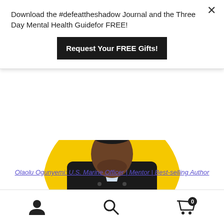Download the #defeattheshadow Journal and the Three Day Mental Health Guidefor FREE!
Request Your FREE Gifts!
[Figure (photo): Circular portrait photo of a person wearing a black jacket and cross necklace, sitting with hands clasped, against a yellow background]
Olaolu Ogunyemi: U.S. Marine Officer | Mentor | Best-selling Author
Share this: